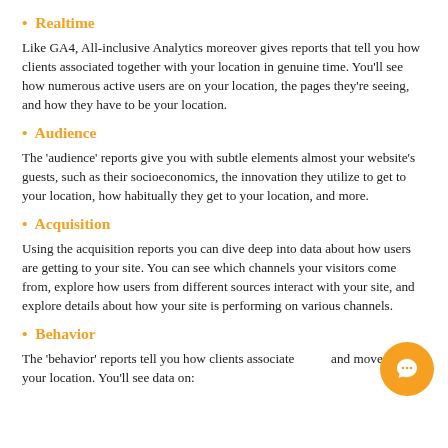• Realtime
Like GA4, All-inclusive Analytics moreover gives reports that tell you how clients associated together with your location in genuine time. You'll see how numerous active users are on your location, the pages they're seeing, and how they have to be your location.
• Audience
The 'audience' reports give you with subtle elements almost your website's guests, such as their socioeconomics, the innovation they utilize to get to your location, how habitually they get to your location, and more.
• Acquisition
Using the acquisition reports you can dive deep into data about how users are getting to your site. You can see which channels your visitors come from, explore how users from different sources interact with your site, and explore details about how your site is performing on various channels.
• Behavior
The 'behavior' reports tell you how clients associated with and move around your location. You'll see data on: